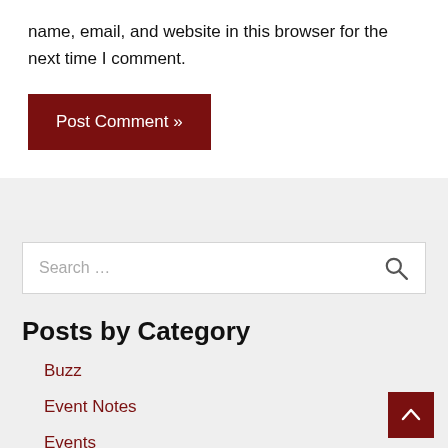name, email, and website in this browser for the next time I comment.
Post Comment »
Search …
Posts by Category
Buzz
Event Notes
Events